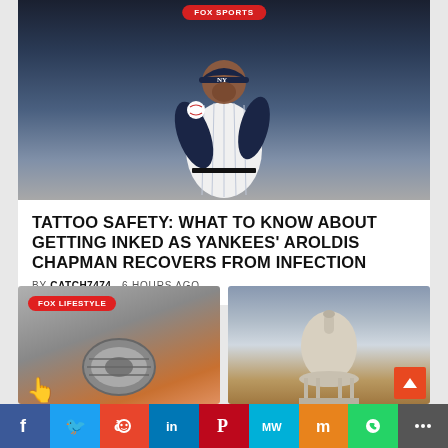[Figure (photo): New York Yankees pitcher Aroldis Chapman in pinstripe uniform holding a baseball, photographed at night game]
TATTOO SAFETY: WHAT TO KNOW ABOUT GETTING INKED AS YANKEES' AROLDIS CHAPMAN RECOVERS FROM INFECTION
BY CATCH7474   6 HOURS AGO
[Figure (photo): FOX LIFESTYLE branded card showing a gray product (tire or similar)]
[Figure (photo): Photo of a domed government building against cloudy sky]